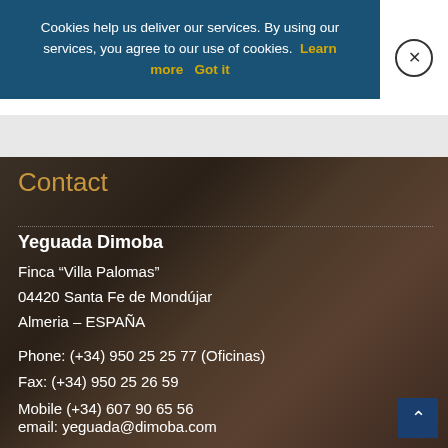Cookies help us deliver our services. By using our services, you agree to our use of cookies. Learn more   Got it
Contact
Yeguada Dimoba
Finca “Villa Palomas”
04420 Santa Fe de Mondújar
Almeria – ESPAÑA
Phone: (+34) 950 25 25 77 (Oficinas)
Fax: (+34) 950 25 26 59
Mobile (+34) 607 90 65 56
email: yeguada@dimoba.com